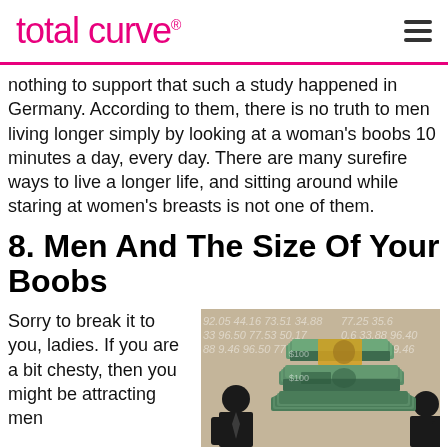total curve
nothing to support that such a study happened in Germany. According to them, there is no truth to men living longer simply by looking at a woman's boobs 10 minutes a day, every day. There are many surefire ways to live a longer life, and sitting around while staring at women's breasts is not one of them.
8. Men And The Size Of Your Boobs
Sorry to break it to you, ladies. If you are a bit chesty, then you might be attracting men
[Figure (illustration): Stack of US dollar bills with silhouettes of businessmen on either side, financial numbers in background]